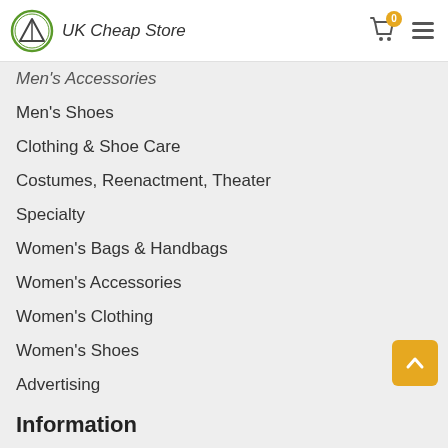UK Cheap Store
Men's Accessories
Men's Shoes
Clothing & Shoe Care
Costumes, Reenactment, Theater
Specialty
Women's Bags & Handbags
Women's Accessories
Women's Clothing
Women's Shoes
Advertising
Information
Home